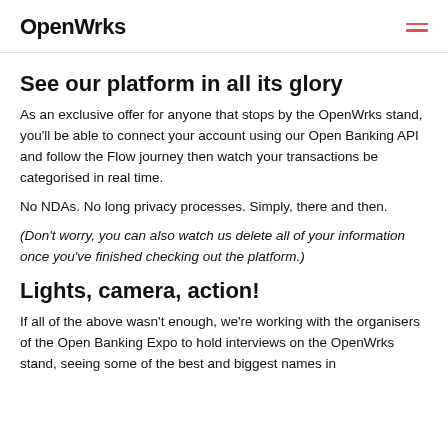OpenWrks
See our platform in all its glory
As an exclusive offer for anyone that stops by the OpenWrks stand, you'll be able to connect your account using our Open Banking API and follow the Flow journey then watch your transactions be categorised in real time.
No NDAs. No long privacy processes. Simply, there and then.
(Don't worry, you can also watch us delete all of your information once you've finished checking out the platform.)
Lights, camera, action!
If all of the above wasn't enough, we're working with the organisers of the Open Banking Expo to hold interviews on the OpenWrks stand, seeing some of the best and biggest names in